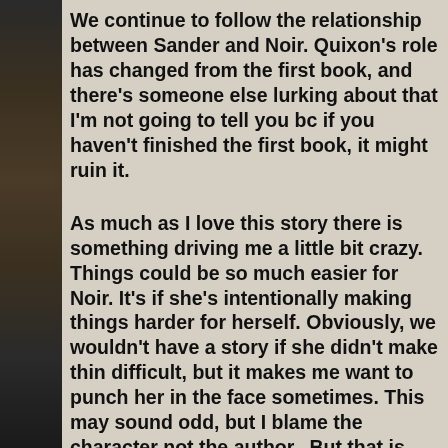We continue to follow the relationship between Sander and Noir. Quixon's role has changed from the first book, and there's someone else lurking about that I'm not going to tell you bc if you haven't finished the first book, it might ruin it.
As much as I love this story there is something driving me a little bit crazy. Things could be so much easier for Noir. It's if she's intentionally making things harder for herself. Obviously, we wouldn't have a story if she didn't make things difficult, but it makes me want to punch her in the face sometimes. This may sound odd, but I blame the character not the author. But that is why I am giving Carpe Noctem 4 stars instead of 5. Mainly because I think there are just too many times where I want to punch Noir in the face. Repeatedly. With a chair.
There is even more action in this book than in the first, which is exciting to me. There are more zombie type of interactions